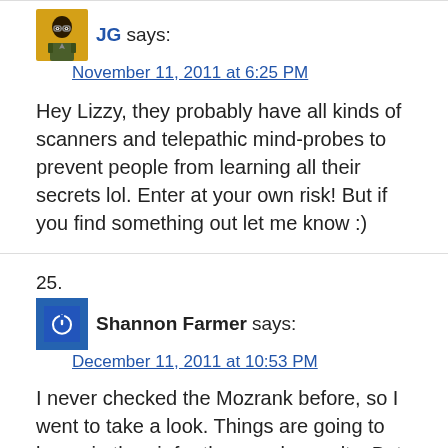[Figure (illustration): Avatar image of user JG — cartoon figure with glasses in yellow/gold square frame]
JG says:
November 11, 2011 at 6:25 PM
Hey Lizzy, they probably have all kinds of scanners and telepathic mind-probes to prevent people from learning all their secrets lol. Enter at your own risk! But if you find something out let me know :)
25.
[Figure (logo): Generic blue avatar icon with power button symbol]
Shannon Farmer says:
December 11, 2011 at 10:53 PM
I never checked the Mozrank before, so I went to take a look. Things are going to be up in the air for the google results. But I feel your pain.